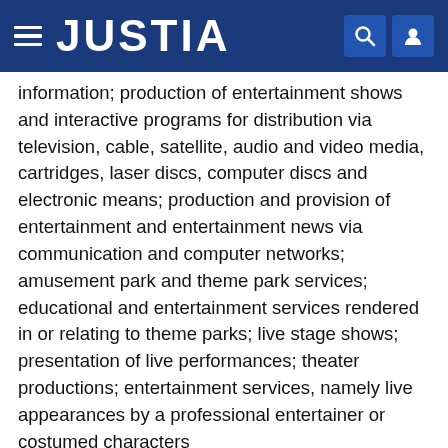JUSTIA
information; production of entertainment shows and interactive programs for distribution via television, cable, satellite, audio and video media, cartridges, laser discs, computer discs and electronic means; production and provision of entertainment and entertainment news via communication and computer networks; amusement park and theme park services; educational and entertainment services rendered in or relating to theme parks; live stage shows; presentation of live performances; theater productions; entertainment services, namely live appearances by a professional entertainer or costumed characters
Classification Information
International Class
41 - Education; providing of training; entertainment;